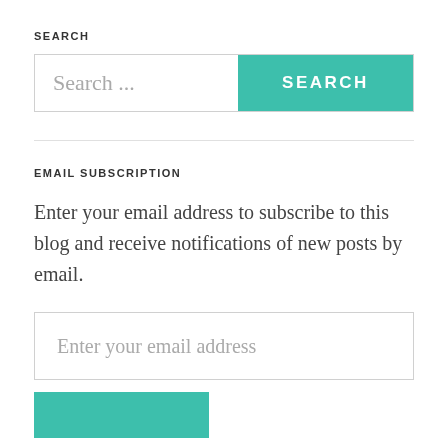SEARCH
[Figure (screenshot): Search input field with placeholder text 'Search ...' and a teal SEARCH button]
EMAIL SUBSCRIPTION
Enter your email address to subscribe to this blog and receive notifications of new posts by email.
[Figure (screenshot): Email input field with placeholder text 'Enter your email address']